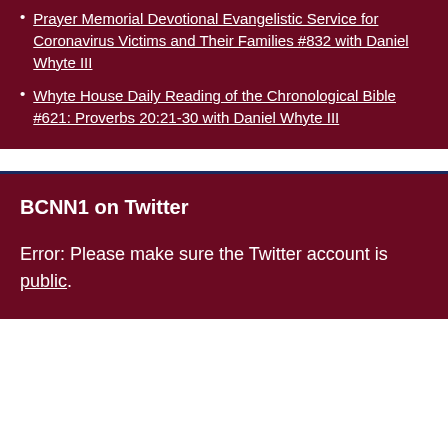Prayer Memorial Devotional Evangelistic Service for Coronavirus Victims and Their Families #832 with Daniel Whyte III
Whyte House Daily Reading of the Chronological Bible #621: Proverbs 20:21-30 with Daniel Whyte III
BCNN1 on Twitter
Error: Please make sure the Twitter account is public.